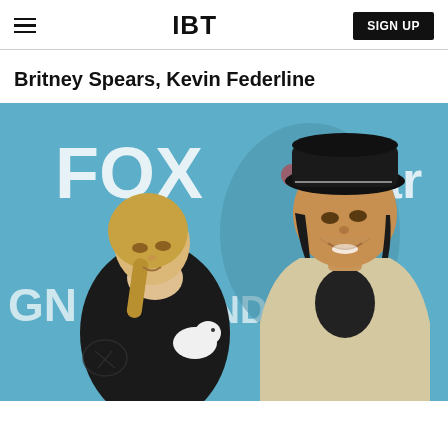IBT | SIGN UP
Britney Spears, Kevin Federline
[Figure (photo): Photo of Britney Spears and Kevin Federline posing together at what appears to be a FOX and Billboard event. Britney is a blonde woman wearing a black lace outfit with a tattoo visible on her arm, holding a small white dog. Kevin is wearing a black fedora hat, black shirt, and cream/beige blazer. The background shows FOX and Billboard logos on a blue step-and-repeat backdrop.]